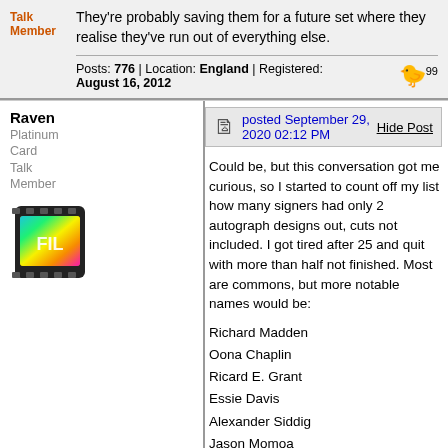Talk Member
They're probably saving them for a future set where they realise they've run out of everything else.
Posts: 776 | Location: England | Registered: August 16, 2012
Raven
Platinum Card Talk Member
posted September 29, 2020 02:12 PM
Hide Post
Could be, but this conversation got me curious, so I started to count off my list how many signers had only 2 autograph designs out, cuts not included. I got tired after 25 and quit with more than half not finished. Most are commons, but more notable names would be:
Richard Madden
Oona Chaplin
Ricard E. Grant
Essie Davis
Alexander Siddig
Jason Momoa
Gwendeline Christie
Emilia Clarke
Of the last 3 I understand Christie's absence the least and keep waiting for her Blue or Gold. She was not well known enough in the beginning to not sign more than has been released.
Anyway there is room on even this self-contained autograph list to have a lot more cards than I realized